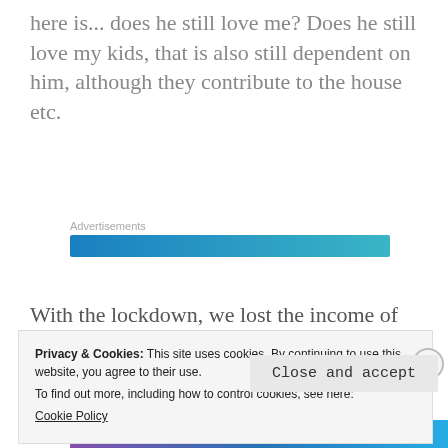here is... does he still love me? Does he still love my kids, that is also still dependent on him, although they contribute to the house etc.
[Figure (other): Advertisements banner bar with blue gradient]
With the lockdown, we lost the income of the Aftercare centre and every other way that we
Privacy & Cookies: This site uses cookies. By continuing to use this website, you agree to their use.
To find out more, including how to control cookies, see here:
Cookie Policy
Close and accept